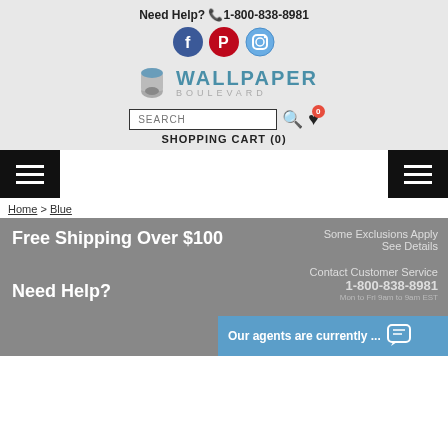Need Help? 📞1-800-838-8981
[Figure (logo): Social media icons: Facebook (blue circle), Pinterest (red circle), Instagram (blue circle)]
[Figure (logo): Wallpaper Boulevard logo with rolled wallpaper graphic]
[Figure (screenshot): Search bar with magnifying glass and heart icon with 0 badge]
SHOPPING CART (0)
[Figure (screenshot): Hamburger menu buttons on left and right]
Home > Blue
Free Shipping Over $100
Some Exclusions Apply
See Details
Need Help?
Contact Customer Service
1-800-838-8981
Mon to Fri 9am to 9pm EST
Our agents are currently ...